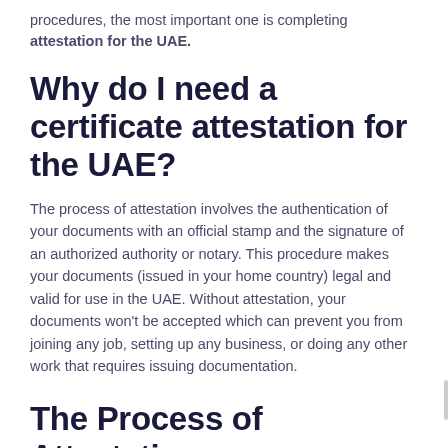procedures, the most important one is completing attestation for the UAE.
Why do I need a certificate attestation for the UAE?
The process of attestation involves the authentication of your documents with an official stamp and the signature of an authorized authority or notary. This procedure makes your documents (issued in your home country) legal and valid for use in the UAE. Without attestation, your documents won't be accepted which can prevent you from joining any job, setting up any business, or doing any other work that requires issuing documentation.
The Process of Attestation